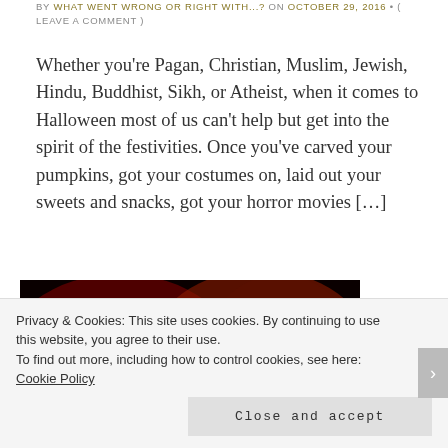BY WHAT WENT WRONG OR RIGHT WITH...? ON OCTOBER 29, 2016 • ( LEAVE A COMMENT )
Whether you're Pagan, Christian, Muslim, Jewish, Hindu, Buddhist, Sikh, or Atheist, when it comes to Halloween most of us can't help but get into the spirit of the festivities. Once you've carved your pumpkins, got your costumes on, laid out your sweets and snacks, got your horror movies [...]
[Figure (photo): Dark horror-themed image with red tones showing the word 'meanest' in stylized text on the left and a close-up of a person's eyes on the right, red-tinted]
Privacy & Cookies: This site uses cookies. By continuing to use this website, you agree to their use. To find out more, including how to control cookies, see here: Cookie Policy
Close and accept